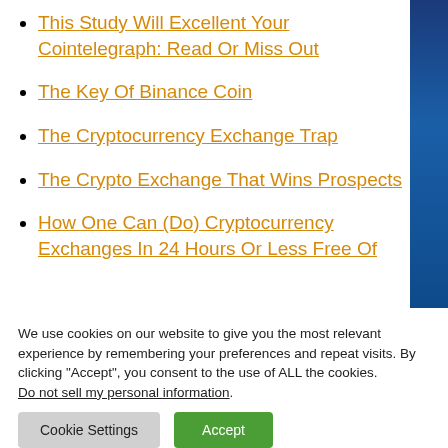This Study Will Excellent Your Cointelegraph: Read Or Miss Out
The Key Of Binance Coin
The Cryptocurrency Exchange Trap
The Crypto Exchange That Wins Prospects
How One Can (Do) Cryptocurrency Exchanges In 24 Hours Or Less Free Of
We use cookies on our website to give you the most relevant experience by remembering your preferences and repeat visits. By clicking “Accept”, you consent to the use of ALL the cookies. Do not sell my personal information.
Cookie Settings | Accept